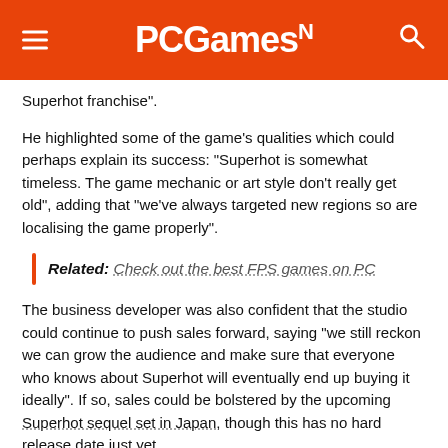PCGamesN
Superhot franchise".
He highlighted some of the game’s qualities which could perhaps explain its success: “Superhot is somewhat timeless. The game mechanic or art style don’t really get old”, adding that “we’ve always targeted new regions so are localising the game properly”.
Related: Check out the best FPS games on PC
The business developer was also confident that the studio could continue to push sales forward, saying “we still reckon we can grow the audience and make sure that everyone who knows about Superhot will eventually end up buying it ideally”. If so, sales could be bolstered by the upcoming Superhot sequel set in Japan, though this has no hard release date just yet.
Given that the VR version has generated more revenue